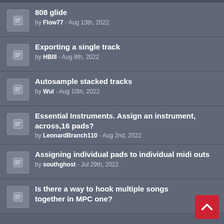808 glide by Flow77 - Aug 13th, 2022
Exporting a single track by HBIII - Aug 8th, 2022
Autosample stacked tracks by Wul - Aug 10th, 2022
Essential Instruments. Assign an instrument, across,16 pads? by LeonardBranch110 - Aug 2nd, 2022
Assigning individual pads to individual midi outs by southghost - Jul 29th, 2022
Is there a way to hook multiple songs together in MPC one?